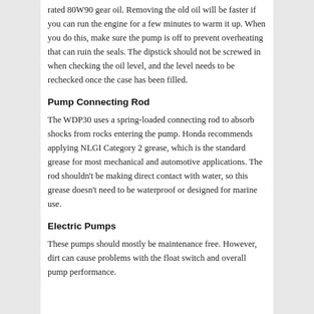rated 80W90 gear oil. Removing the old oil will be faster if you can run the engine for a few minutes to warm it up. When you do this, make sure the pump is off to prevent overheating that can ruin the seals. The dipstick should not be screwed in when checking the oil level, and the level needs to be rechecked once the case has been filled.
Pump Connecting Rod
The WDP30 uses a spring-loaded connecting rod to absorb shocks from rocks entering the pump. Honda recommends applying NLGI Category 2 grease, which is the standard grease for most mechanical and automotive applications. The rod shouldn't be making direct contact with water, so this grease doesn't need to be waterproof or designed for marine use.
Electric Pumps
These pumps should mostly be maintenance free. However, dirt can cause problems with the float switch and overall pump performance.